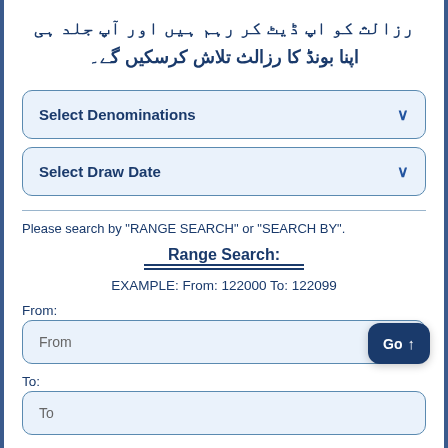رزالث کو اپ ڈیٹ کر رہم ہیں اور آپ جلد ہی اپنا بونڈ کا رزالث تلاش کرسکیں گے۔
Select Denominations
Select Draw Date
Please search by "RANGE SEARCH" or "SEARCH BY".
Range Search:
EXAMPLE: From: 122000 To: 122099
From:
From
To:
To